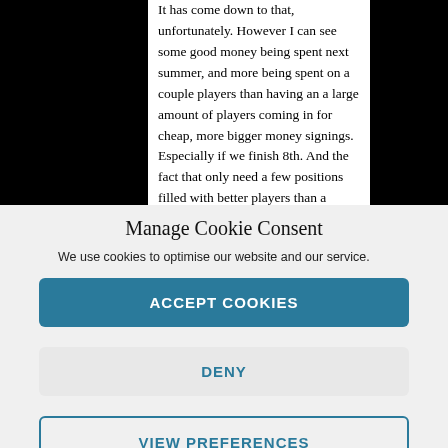It has come down to that, unfortunately. However I can see some good money being spent next summer, and more being spent on a couple players than having an a large amount of players coming in for cheap, more bigger money signings. Especially if we finish 8th. And the fact that only need a few positions filled with better players than a
Manage Cookie Consent
We use cookies to optimise our website and our service.
ACCEPT COOKIES
DENY
VIEW PREFERENCES